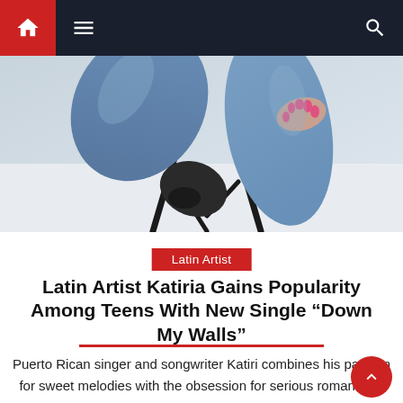Navigation bar with home, menu, and search icons
[Figure (photo): Close-up photo of a person sitting on a stool wearing blue jeans and black ankle boots, with pink painted fingernails resting on their knee, against a white background]
Latin Artist
Latin Artist Katiria Gains Popularity Among Teens With New Single “Down My Walls”
Puerto Rican singer and songwriter Katiri combines his passion for sweet melodies with the obsession for serious romance in his new single “Down my walls”. The future Latin singer Katiri becomes the new sensation of the pop kingdom with a brand new hit single “Down my walls”. She was already